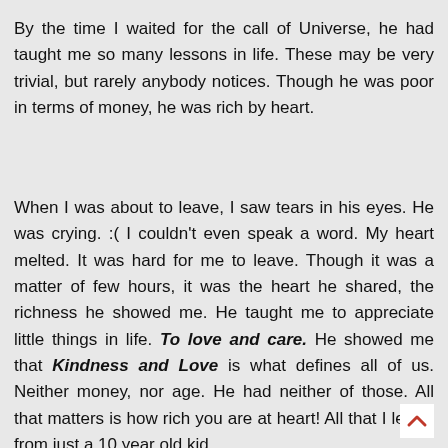By the time I waited for the call of Universe, he had taught me so many lessons in life. These may be very trivial, but rarely anybody notices. Though he was poor in terms of money, he was rich by heart.
When I was about to leave, I saw tears in his eyes. He was crying. :( I couldn't even speak a word. My heart melted. It was hard for me to leave. Though it was a matter of few hours, it was the heart he shared, the richness he showed me. He taught me to appreciate little things in life. To love and care. He showed me that Kindness and Love is what defines all of us. Neither money, nor age. He had neither of those. All that matters is how rich you are at heart! All that I learnt from just a 10 year old kid.